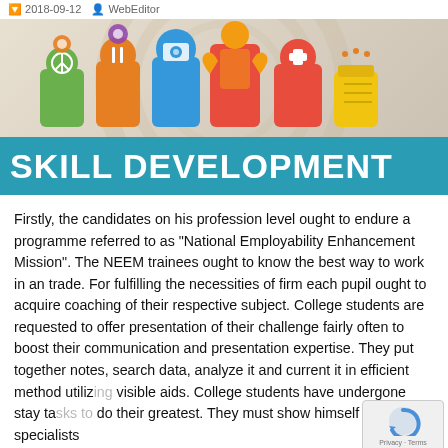2018-09-12   WebEditor
[Figure (illustration): Skill Development banner with colorful icons representing different skills/professions (peace symbol, food/restaurant, camera, person flexing, medical/first-aid, and a yellow container) above a teal banner reading SKILL DEVELOPMENT in bold white text.]
Firstly, the candidates on his profession level ought to endure a programme referred to as “National Employability Enhancement Mission”. The NEEM trainees ought to know the best way to work in an trade. For fulfilling the necessities of firm each pupil ought to acquire coaching of their respective subject. College students are requested to offer presentation of their challenge fairly often to boost their communication and presentation expertise. They put together notes, search data, analyze it and current it in efficient method utilizing visible aids. College students have undergone stay tasks to do their greatest. They must show himself to be specialists